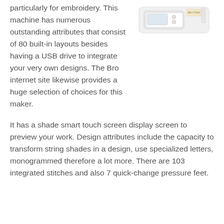[Figure (photo): A white embroidery sewing machine product photo, shown partially at the top right of the page.]
particularly for embroidery. This machine has numerous outstanding attributes that consist of 80 built-in layouts besides having a USB drive to integrate your very own designs. The Bro internet site likewise provides a huge selection of choices for this maker.
It has a shade smart touch screen display screen to preview your work. Design attributes include the capacity to transform string shades in a design, use specialized letters, monogrammed therefore a lot more. There are 103 integrated stitches and also 7 quick-change pressure feet.